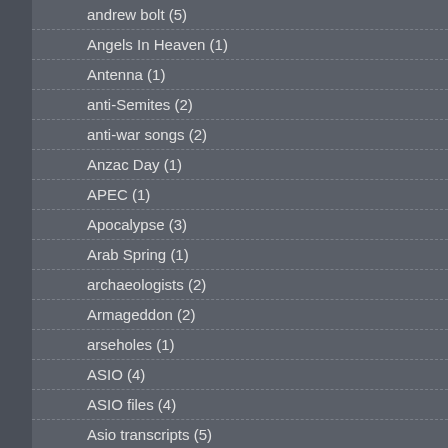andrew bolt (5)
Angels In Heaven (1)
Antenna (1)
anti-Semites (2)
anti-war songs (2)
Anzac Day (1)
APEC (1)
Apocalypse (3)
Arab Spring (1)
archaeologists (2)
Armageddon (2)
arseholes (1)
ASIO (4)
ASIO files (4)
Asio transcripts (5)
ask Carlo (3)
astronomy (1)